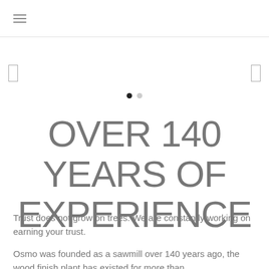≡
[Figure (other): Carousel navigation area with left and right arrow brackets and two pagination dots (one filled black, one light gray)]
OVER 140 YEARS OF EXPERIENCE
Trust does not grow on trees. We are constantly working on earning your trust.
Osmo was founded as a sawmill over 140 years ago, the wood finish plant has existed for more than